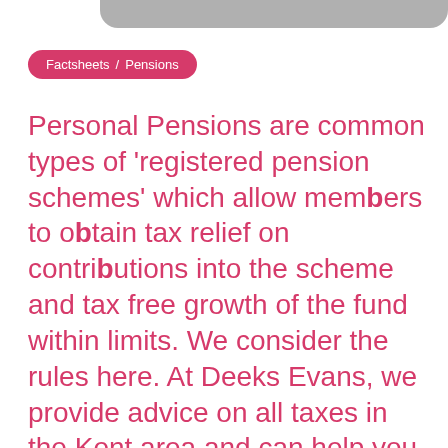Factsheets / Pensions
Personal Pensions are common types of 'registered pension schemes' which allow members to obtain tax relief on contributions into the scheme and tax free growth of the fund within limits. We consider the rules here. At Deeks Evans, we provide advice on all taxes in the Kent area and can help you to consider maximising tax relief on pension provision.